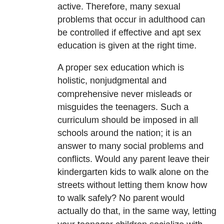active. Therefore, many sexual problems that occur in adulthood can be controlled if effective and apt sex education is given at the right time.
A proper sex education which is holistic, nonjudgmental and comprehensive never misleads or misguides the teenagers. Such a curriculum should be imposed in all schools around the nation; it is an answer to many social problems and conflicts. Would any parent leave their kindergarten kids to walk alone on the streets without letting them know how to walk safely? No parent would actually do that, in the same way, letting your teenager children socialize with their peers and fellows without any proper sexual education is nothing contrary to the analogy mentioned above. It is hazardous and risky for their lives. Thus, proper sex education in schools should be encouraged so that they learn all the significant facts through trained teachers, who help and supports them in these matters of highly crucial value. Sex education should be taken as a positive aspect which promises healthier and better life for the youngsters. It therefore should be taken as a subject